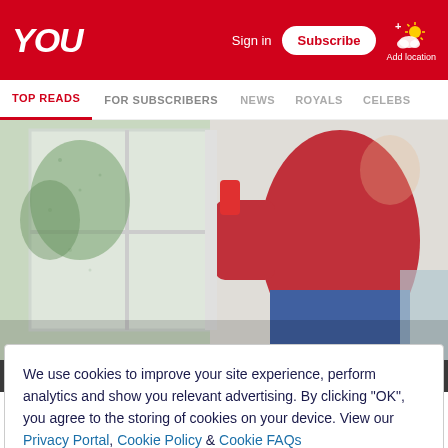YOU | Sign in | Subscribe | Add location
TOP READS | FOR SUBSCRIBERS | NEWS | ROYALS | CELEBS
[Figure (photo): Woman in red hoodie and blue jeans texting near a window with a phone in her hand]
Woman texting. (Photo: Getty Images)
Are you just looking for a hookup, or maybe something deeper? In the world of cyber love, the right profile can
We use cookies to improve your site experience, perform analytics and show you relevant advertising. By clicking "OK", you agree to the storing of cookies on your device. View our Privacy Portal, Cookie Policy & Cookie FAQs